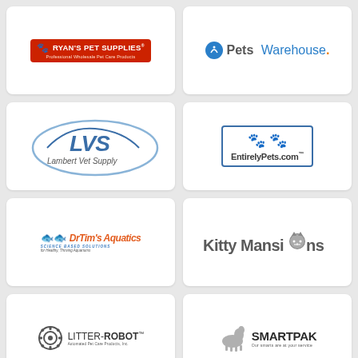[Figure (logo): Ryan's Pet Supplies logo — red background with dog/cat icon, text 'RYAN'S PET SUPPLIES Professional Wholesale Pet Care Products']
[Figure (logo): Pets Warehouse logo — blue circular icon, 'Pets' in dark gray bold, 'Warehouse.' in blue]
[Figure (logo): LVS Lambert Vet Supply logo — stylized oval with 'LVS' in blue italic and 'Lambert Vet Supply' text]
[Figure (logo): EntirelyPets.com logo — bordered box with two golden paw prints and 'EntirelyPets.com' text with trademark]
[Figure (logo): DrTim's Aquatics logo — two red fish icons, orange-red italic brand name, blue subtitle 'Science Based Solutions', gray tagline]
[Figure (logo): Kitty Mansions logo — bold gray text with cat face icon replacing the 'o' in Mansions]
[Figure (logo): Litter-Robot logo — gear icon, 'LITTER-ROBOT' trademark text, subtitle 'Automated Pet Care Products, Inc.']
[Figure (logo): SmartPak logo — gray horse icon, bold 'SMARTPAK' text, tagline 'Our smarts are at your service']